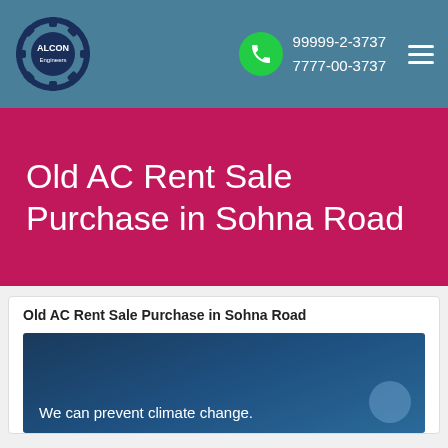ALCON Engineers — 99999-2-3737 / 7777-00-3737
Old AC Rent Sale Purchase in Sohna Road
Old AC Rent Sale Purchase in Sohna Road
[Figure (photo): Dark blue gradient background image with white text reading 'We can prevent climate change.' and a circular accent element on the right.]